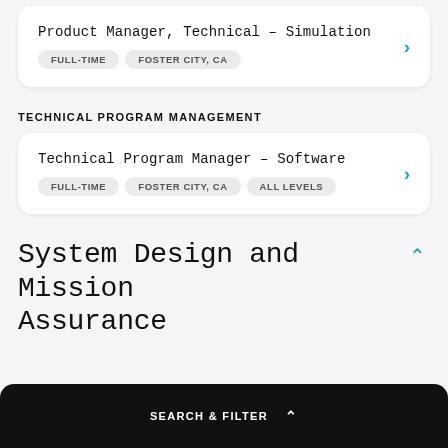Product Manager, Technical - Simulation
FULL-TIME   FOSTER CITY, CA
TECHNICAL PROGRAM MANAGEMENT
Technical Program Manager – Software
FULL-TIME   FOSTER CITY, CA   ALL LEVELS
System Design and Mission Assurance
SEARCH & FILTER ^